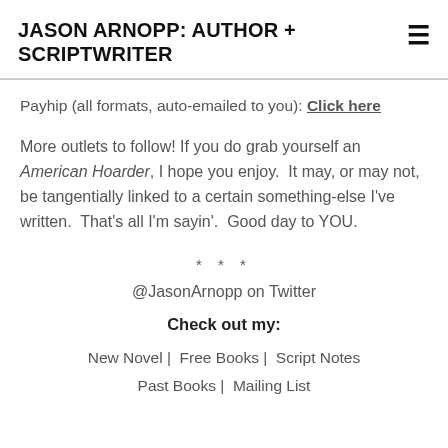JASON ARNOPP: AUTHOR + SCRIPTWRITER
Payhip (all formats, auto-emailed to you): Click here
More outlets to follow! If you do grab yourself an American Hoarder, I hope you enjoy.  It may, or may not, be tangentially linked to a certain something-else I've written.  That's all I'm sayin'.  Good day to YOU.
* * *
@JasonArnopp on Twitter
Check out my:
New Novel |  Free Books |  Script Notes  Past Books |  Mailing List